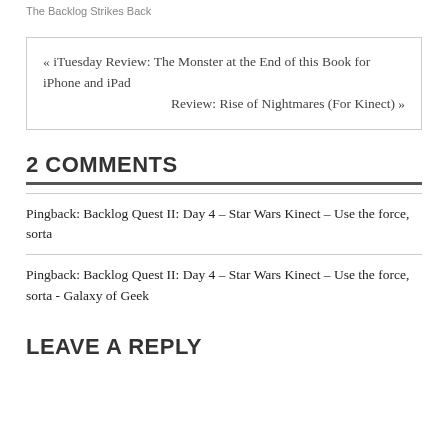The Backlog Strikes Back
« iTuesday Review: The Monster at the End of this Book for iPhone and iPad
Review: Rise of Nightmares (For Kinect) »
2 COMMENTS
Pingback: Backlog Quest II: Day 4 – Star Wars Kinect – Use the force, sorta
Pingback: Backlog Quest II: Day 4 – Star Wars Kinect – Use the force, sorta - Galaxy of Geek
LEAVE A REPLY